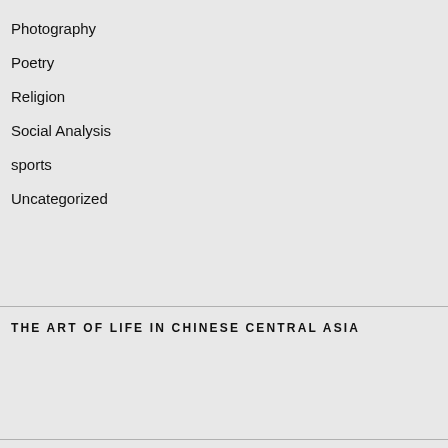Photography
Poetry
Religion
Social Analysis
sports
Uncategorized
THE ART OF LIFE IN CHINESE CENTRAL ASIA
RSS - Posts
RSS - Comments